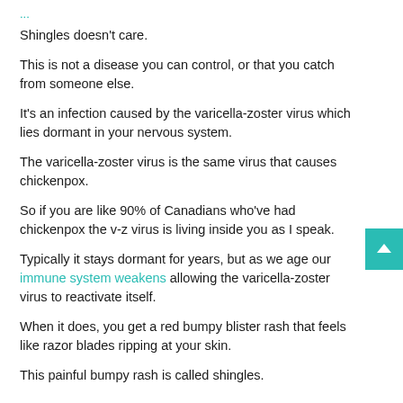...
Shingles doesn't care.
This is not a disease you can control, or that you catch from someone else.
It's an infection caused by the varicella-zoster virus which lies dormant in your nervous system.
The varicella-zoster virus is the same virus that causes chickenpox.
So if you are like 90% of Canadians who've had chickenpox the v-z virus is living inside you as I speak.
Typically it stays dormant for years, but as we age our immune system weakens allowing the varicella-zoster virus to reactivate itself.
When it does, you get a red bumpy blister rash that feels like razor blades ripping at your skin.
This painful bumpy rash is called shingles.